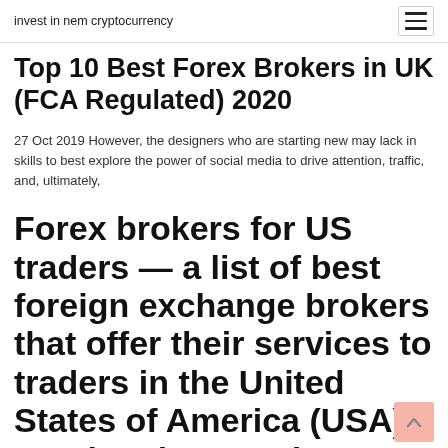invest in nem cryptocurrency
Top 10 Best Forex Brokers in UK (FCA Regulated) 2020
27 Oct 2019 However, the designers who are starting new may lack in skills to best explore the power of social media to drive attention, traffic, and, ultimately,
Forex brokers for US traders — a list of best foreign exchange brokers that offer their services to traders in the United States of America (USA). Read reviews and see